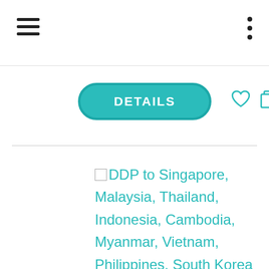Navigation bar with hamburger menu and three-dot menu
[Figure (screenshot): DETAILS pill button in teal/turquoise, heart icon, and copy icon in teal outline style]
DDP to Singapore, Malaysia, Thailand, Indonesia, Cambodia, Myanmar, Vietnam, Philippines, South Korea